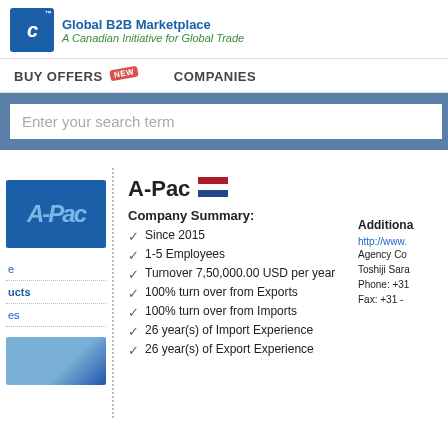Global B2B Marketplace
A Canadian Initiative for Global Trade
BUY OFFERS NEW    COMPANIES
Enter your search term
A-Pac
Company Summary:
Since 2015
1-5 Employees
Turnover 7,50,000.00 USD per year
100% turn over from Exports
100% turn over from Imports
26 year(s) of Import Experience
26 year(s) of Export Experience
Additional
http://www.
Agency Co
Toshiji Sara
Phone: +31
Fax: +31 -